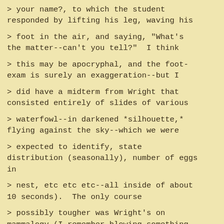> your name?, to which the student responded by lifting his leg, waving his
> foot in the air, and saying, "What's the matter--can't you tell?"  I think
> this may be apocryphal, and the foot-exam is surely an exaggeration--but I
> did have a midterm from Wright that consisted entirely of slides of various
> waterfowl--in darkened *silhouette,* flying against the sky--which we were
> expected to identify, state distribution (seasonally), number of eggs in
> nest, etc etc etc--all inside of about 10 seconds).  The only course
> possibly tougher was Wright's on mammalogy (I remember blowing something on
> the final because I couldn't remember how to tell apart the skulls of a